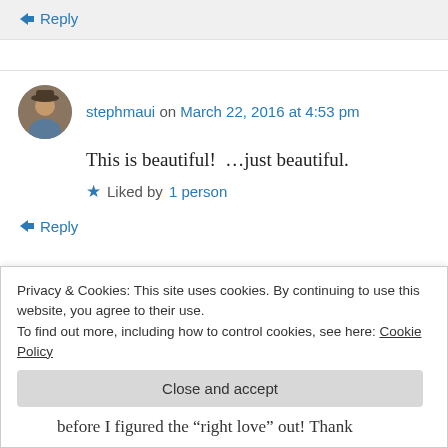↳ Reply
stephmaui on March 22, 2016 at 4:53 pm
This is beautiful! …just beautiful.
Liked by 1 person
↳ Reply
Privacy & Cookies: This site uses cookies. By continuing to use this website, you agree to their use.
To find out more, including how to control cookies, see here: Cookie Policy
Close and accept
before I figured the "right love" out! Thank